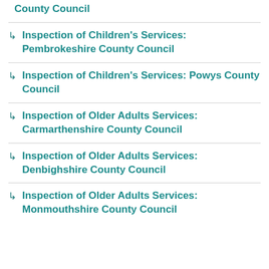County Council
Inspection of Children's Services: Pembrokeshire County Council
Inspection of Children's Services: Powys County Council
Inspection of Older Adults Services: Carmarthenshire County Council
Inspection of Older Adults Services: Denbighshire County Council
Inspection of Older Adults Services: Monmouthshire County Council